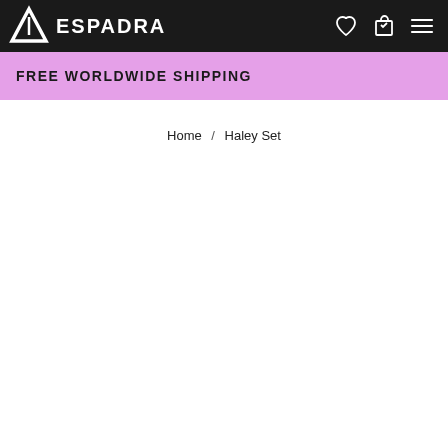ESPADRA
FREE WORLDWIDE SHIPPING
Home / Haley Set